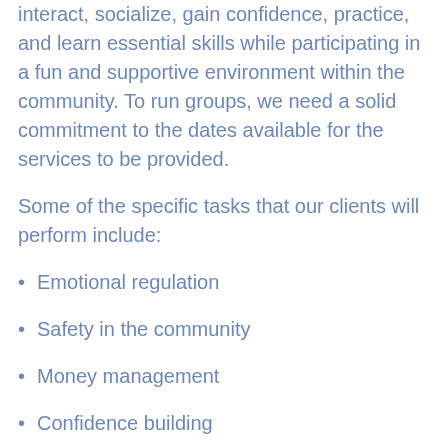interact, socialize, gain confidence, practice, and learn essential skills while participating in a fun and supportive environment within the community. To run groups, we need a solid commitment to the dates available for the services to be provided.
Some of the specific tasks that our clients will perform include:
Emotional regulation
Safety in the community
Money management
Confidence building